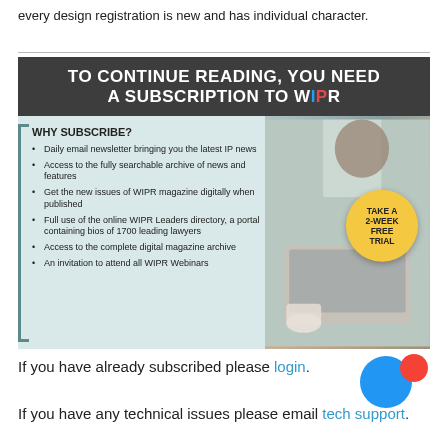every design registration is new and has individual character.
[Figure (infographic): WIPR subscription advertisement. Header: 'TO CONTINUE READING, YOU NEED A SUBSCRIPTION TO WIPR'. Body lists benefits: Daily email newsletter, searchable archive, WIPR magazine digitally, WIPR Leaders directory, digital magazine archive, WIPR Webinars. Features a 'TAKE A 2-WEEK FREE TRIAL' badge. Background photo of person using laptop.]
If you have already subscribed please login.
If you have any technical issues please email tech support.